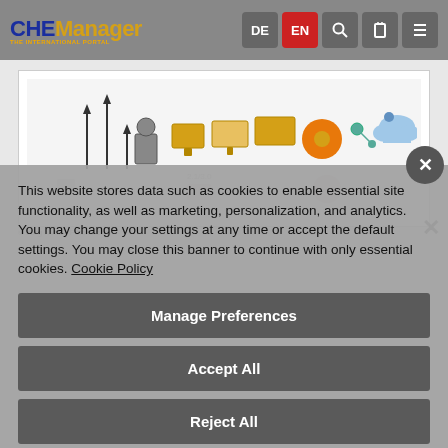CHEManager  DE  EN  [search] [lock] [menu]
[Figure (illustration): Illustration of digital technology icons including arrows/bar charts, a person, computer monitors, an orange circle, connection nodes, and a cloud with headset]
This website stores data such as cookies to enable essential site functionality, as well as marketing, personalization, and analytics. You may change your settings at any time or accept the default settings. You may close this banner to continue with only essential cookies. Cookie Policy
Manage Preferences
Accept All
Reject All
© berg Nvns - Fotolia.com
Annual results presented by global chemical